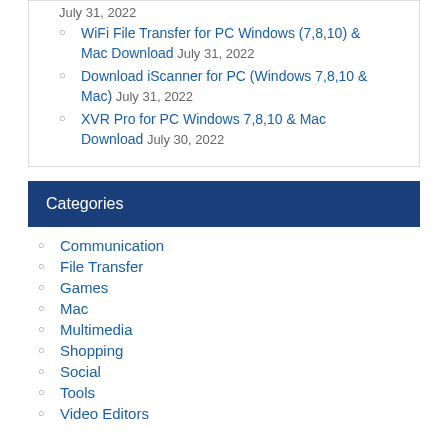July 31, 2022
WiFi File Transfer for PC Windows (7,8,10) & Mac Download July 31, 2022
Download iScanner for PC (Windows 7,8,10 & Mac) July 31, 2022
XVR Pro for PC Windows 7,8,10 & Mac Download July 30, 2022
Categories
Communication
File Transfer
Games
Mac
Multimedia
Shopping
Social
Tools
Video Editors